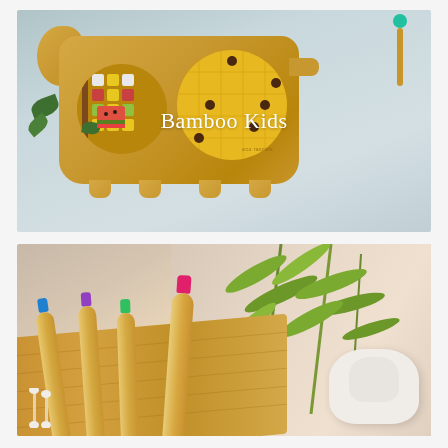[Figure (photo): Top-down view of a bamboo kids plate shaped like a crocodile/animal, filled with colorful fruits including mango, kiwi skewers, watermelon, and green leaves. A teal silicone spoon with bamboo handle rests beside the plate on a light blue-grey background. Text 'Bamboo Kids' overlaid in white.]
[Figure (photo): Top-down view of bamboo toothbrushes with colorful bristle heads (blue, purple, green, pink) arranged on a bamboo cutting board, with green bamboo plant leaves in the background and a white cloth/pad in the bottom right corner.]